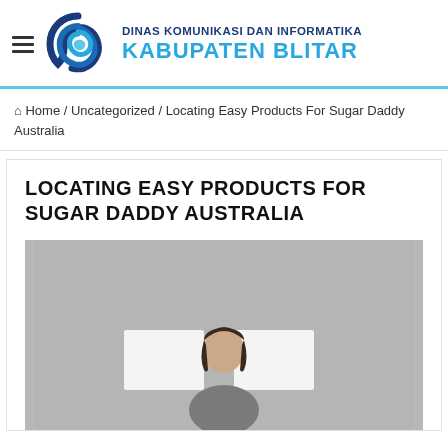DINAS KOMUNIKASI DAN INFORMATIKA KABUPATEN BLITAR
Home / Uncategorized / Locating Easy Products For Sugar Daddy Australia
LOCATING EASY PRODUCTS FOR SUGAR DADDY AUSTRALIA
[Figure (photo): Photo of a woman sitting between two laptop computers on a grey background]